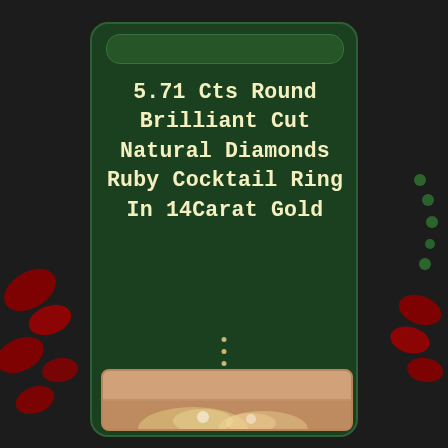5.71 Cts Round Brilliant Cut Natural Diamonds Ruby Cocktail Ring In 14Carat Gold
[Figure (photo): Close-up photo of a diamond and ruby cocktail ring in 14 carat gold, shown on a finger with skin tones visible]